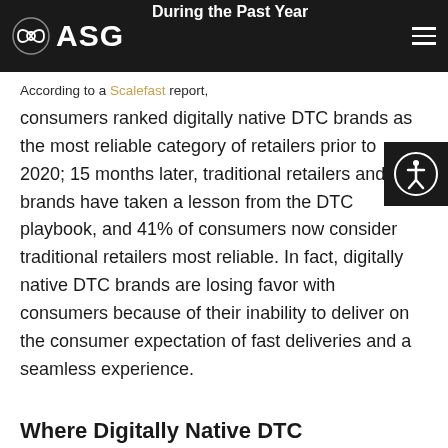During the Past Year
ASG
According to a Scalefast report, consumers ranked digitally native DTC brands as the most reliable category of retailers prior to 2020; 15 months later, traditional retailers and brands have taken a lesson from the DTC playbook, and 41% of consumers now consider traditional retailers most reliable. In fact, digitally native DTC brands are losing favor with consumers because of their inability to deliver on the consumer expectation of fast deliveries and a seamless experience.
Where Digitally Native DTC